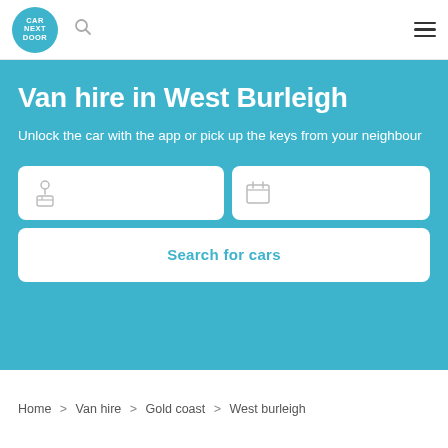[Figure (logo): Car Next Door circular logo in teal with white text]
Van hire in West Burleigh
Unlock the car with the app or pick up the keys from your neighbour
[Figure (screenshot): Location and calendar search input boxes with icons]
Search for cars
Home > Van hire > Gold coast > West burleigh